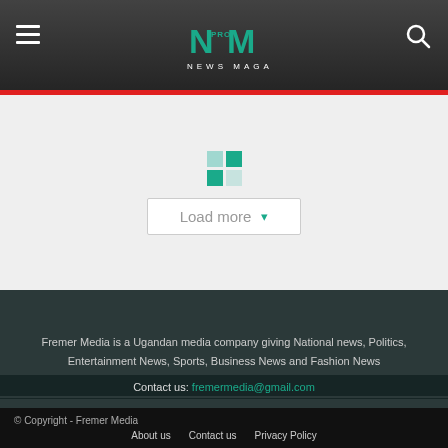[Figure (logo): NM PRO News Magazine logo with teal/green N and M letters on dark header background, hamburger menu icon on left, search icon on right]
[Figure (screenshot): Load more button with teal spinner/loading indicator above it on light grey background]
Fremer Media is a Ugandan media company giving National news, Politics, Entertainment News, Sports, Business News and Fashion News
Contact us: fremermedia@gmail.com
[Figure (infographic): Social media icons row: Facebook, Instagram, LinkedIn, Pinterest, Tumblr, Twitter]
© Copyright - Fremer Media
About us   Contact us   Privacy Policy